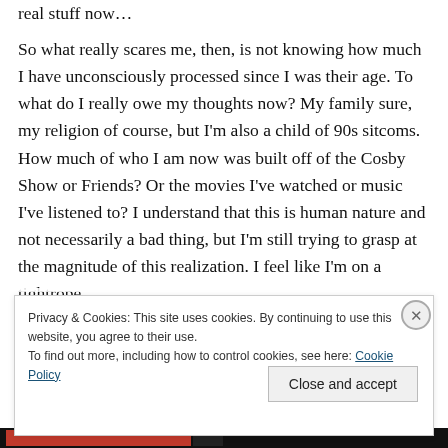real stuff now…
So what really scares me, then, is not knowing how much I have unconsciously processed since I was their age. To what do I really owe my thoughts now? My family sure, my religion of course, but I'm also a child of 90s sitcoms. How much of who I am now was built off of the Cosby Show or Friends? Or the movies I've watched or music I've listened to? I understand that this is human nature and not necessarily a bad thing, but I'm still trying to grasp at the magnitude of this realization. I feel like I'm on a tightrope
Privacy & Cookies: This site uses cookies. By continuing to use this website, you agree to their use. To find out more, including how to control cookies, see here: Cookie Policy
Close and accept